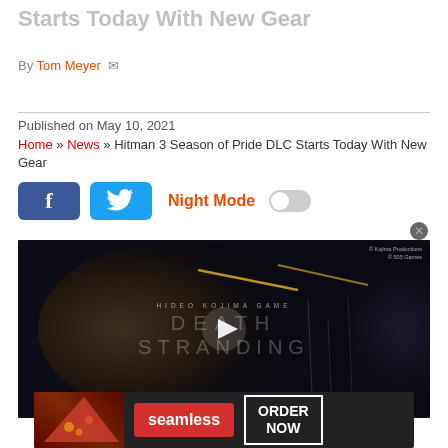Starts Today With New Gear
By Tom Meyer
Published on May 10, 2021
Home » News » Hitman 3 Season of Pride DLC Starts Today With New Gear
[Figure (other): Facebook and Twitter share buttons with Night Mode toggle]
[Figure (photo): Death Stranding video thumbnail showing a hooded figure with the game title text and a play button overlay]
[Figure (other): Seamless food delivery advertisement banner with pizza image, Seamless logo and ORDER NOW button]